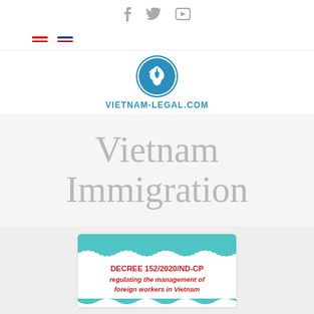Social icons: Facebook, Twitter, Vimeo
[Figure (logo): Vietnam-Legal.com logo with blue bird-in-circle icon and text VIETNAM-LEGAL.COM]
Vietnam Immigration
[Figure (infographic): Decree card with teal header and wavy border reading: DECREE 152/2020/ND-CP regulating the management of foreign workers in Vietnam]